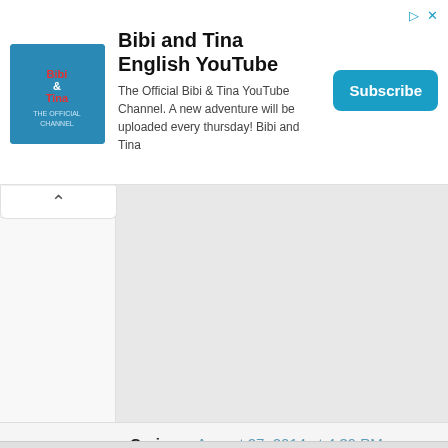[Figure (screenshot): Advertisement banner for Bibi and Tina English YouTube channel with logo, description text, and Subscribe button]
Corinne August 27, 2014 at 4:39 PM
This looks incredible Mike, and the description of the UO hipster store clerk cracked me up!
Reply